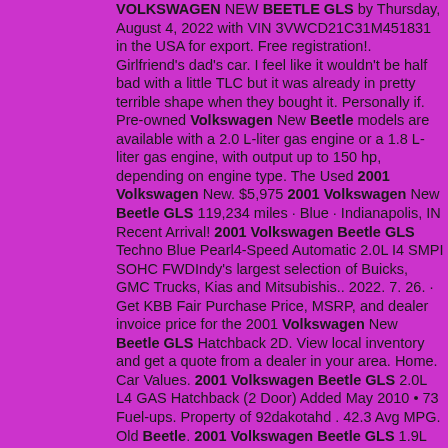VOLKSWAGEN NEW BEETLE GLS by Thursday, August 4, 2022 with VIN 3VWCD21C31M451831 in the USA for export. Free registration!. Girlfriend's dad's car. I feel like it wouldn't be half bad with a little TLC but it was already in pretty terrible shape when they bought it. Personally if. Pre-owned Volkswagen New Beetle models are available with a 2.0 L-liter gas engine or a 1.8 L-liter gas engine, with output up to 150 hp, depending on engine type. The Used 2001 Volkswagen New. $5,975 2001 Volkswagen New Beetle GLS 119,234 miles · Blue · Indianapolis, IN Recent Arrival! 2001 Volkswagen Beetle GLS Techno Blue Pearl4-Speed Automatic 2.0L I4 SMPI SOHC FWDIndy's largest selection of Buicks, GMC Trucks, Kias and Mitsubishis.. 2022. 7. 26. · Get KBB Fair Purchase Price, MSRP, and dealer invoice price for the 2001 Volkswagen New Beetle GLS Hatchback 2D. View local inventory and get a quote from a dealer in your area. Home. Car Values. 2001 Volkswagen Beetle GLS 2.0L L4 GAS Hatchback (2 Door) Added May 2010 • 73 Fuel-ups. Property of 92dakotahd . 42.3 Avg MPG. Old Beetle. 2001 Volkswagen Beetle GLS 1.9L L4 DIESEL Automatic 4 Hatchback (2 Door) Added May 2015 • 8 Fuel-ups. Property of deathsarmor . 35.9 Avg MPG. Buckie 4. Looking to buy 2001 VOLKSWAGEN NEW BEETLE GLS by Thursday, August 4, 2022 with VIN 3VWCD21C31M451831 in the